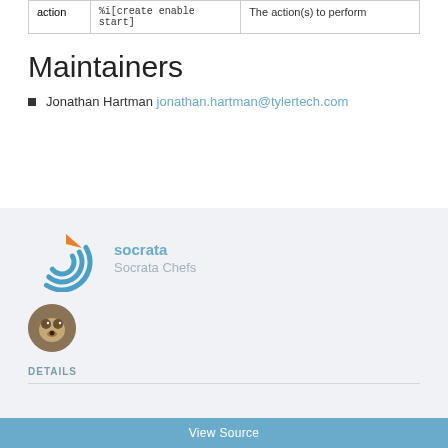| action | %i[create enable start] | The action(s) to perform |
| --- | --- | --- |
| action | %i[create enable
start] | The action(s) to perform |
Maintainers
Jonathan Hartman jonathan.hartman@tylertech.com
[Figure (logo): Socrata circular logo with blue concentric arcs and orange arrow, labeled 'socrata / Socrata Chefs']
[Figure (photo): Small circular avatar photo of a dog]
DETAILS
View Source